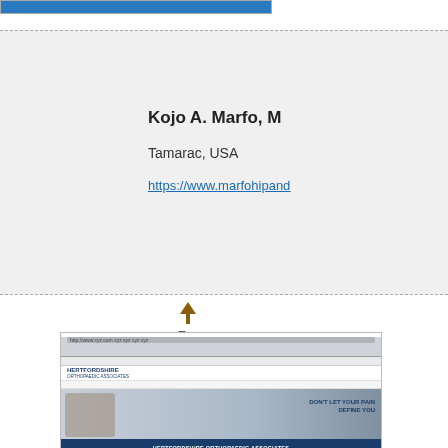[Figure (screenshot): Blue browser toolbar/header bar at top of page]
Kojo A. Marfo, M
Tamarac, USA
https://www.marfohipand
[Figure (screenshot): Screenshot of Hertfordshire Orthopaedic Associates website showing logo, browser chrome, hero image of two people skateboarding with text DON'T LET YOUR PAIN DEFINE YOU, and blue footer with HERTFORDSHIRE ORTHOPAEDIC ASSOCIATES]